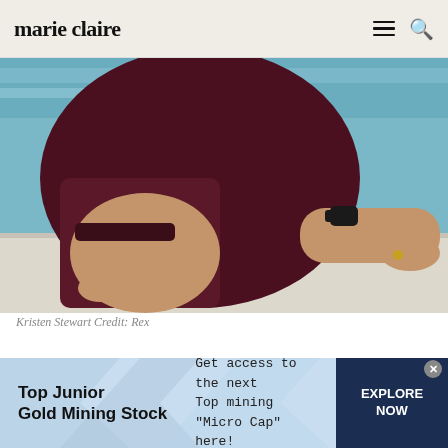marie claire
[Figure (photo): Close-up photo of Kristen Stewart wearing a dark maroon/burgundy outfit, sitting with her hand resting on a white surface, wearing a black watch and gold ring, with a blue/teal background.]
Kristen Stewart Credit: Rex
[Figure (infographic): Advertisement banner: 'Top Junior Gold Mining Stock' - Get access to the next Top mining "Micro Cap" here! EXPLORE NOW]